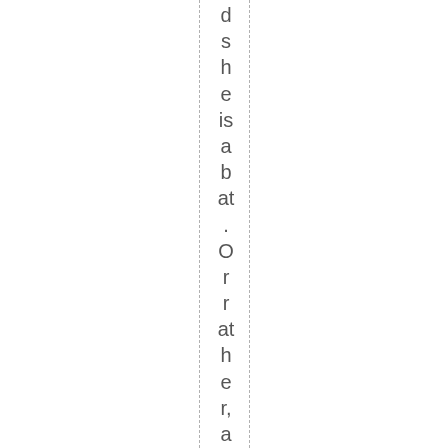dsheisabat.Orrather,acolored pe